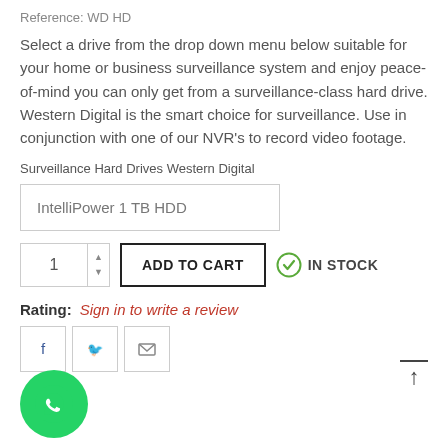Reference: WD HD
Select a drive from the drop down menu below suitable for your home or business surveillance system and enjoy peace-of-mind you can only get from a surveillance-class hard drive. Western Digital is the smart choice for surveillance. Use in conjunction with one of our NVR's to record video footage.
Surveillance Hard Drives Western Digital
IntelliPower 1 TB HDD
1
ADD TO CART
IN STOCK
Rating:  Sign in to write a review
[Figure (logo): WhatsApp green circular button with white phone icon]
[Figure (infographic): Social share icons: Facebook, Twitter, Email]